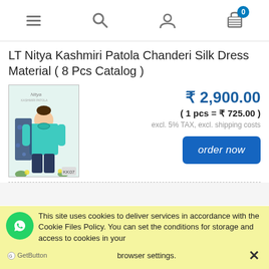Navigation bar with menu, search, profile, and cart (0 items) icons
LT Nitya Kashmiri Patola Chanderi Silk Dress Material ( 8 Pcs Catalog )
[Figure (photo): Product photo of a woman wearing a teal/green Chanderi silk dress with dark navy pants and a blue floral dupatta, shown in a catalog layout]
₹ 2,900.00
( 1 pcs = ₹ 725.00 )
excl. 5% TAX, excl. shipping costs
order now
Fyra Designing Hub Begum Cotton Dress Material (
This site uses cookies to deliver services in accordance with the Cookie Files Policy. You can set the conditions for storage and access to cookies in your browser settings. ✕
GetButton